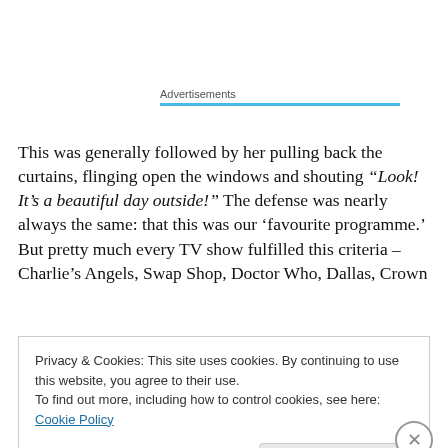Advertisements
This was generally followed by her pulling back the curtains, flinging open the windows and shouting “Look! It’s a beautiful day outside!” The defense was nearly always the same: that this was our ‘favourite programme.’ But pretty much every TV show fulfilled this criteria – Charlie’s Angels, Swap Shop, Doctor Who, Dallas, Crown
Privacy & Cookies: This site uses cookies. By continuing to use this website, you agree to their use.
To find out more, including how to control cookies, see here: Cookie Policy